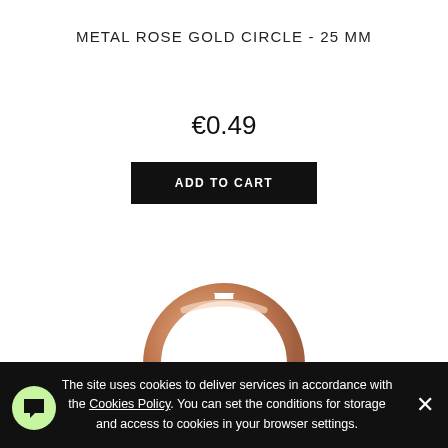METAL ROSE GOLD CIRCLE - 25 MM
€0.49
ADD TO CART
[Figure (photo): A metal rose gold circle ring approximately 25mm in diameter, photographed against a white background. The ring has a shiny rose gold finish.]
The site uses cookies to deliver services in accordance with the Cookies Policy. You can set the conditions for storage and access to cookies in your browser settings.